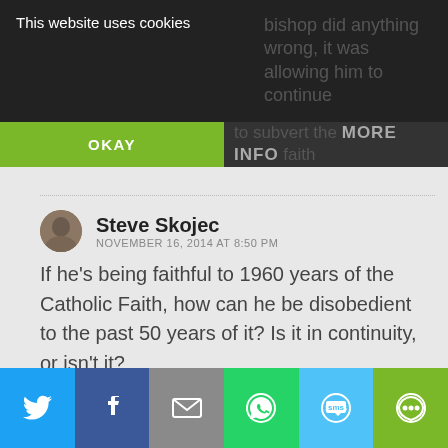This website uses cookies | OKAY | MORE INFO
bishop did anything wrong, it was allowing him to continue to subvert the Catholic faith for three more years.
Steve Skojec
NOVEMBER 16, 2014 AT 8:50 PM
If he's being faithful to 1960 years of the Catholic Faith, how can he be disobedient to the past 50 years of it? Is it in continuity, or isn't it?
[Figure (infographic): Social sharing bar with Twitter, Facebook, Email, WhatsApp, SMS, and another icon]